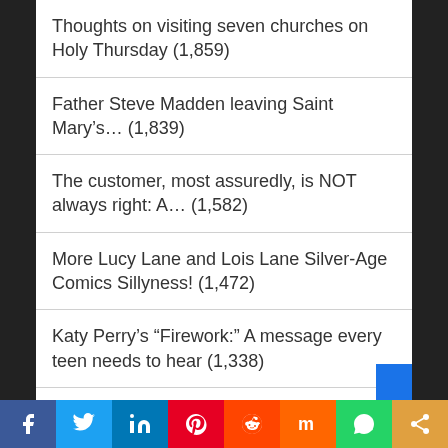Thoughts on visiting seven churches on Holy Thursday (1,859)
Father Steve Madden leaving Saint Mary's… (1,839)
The customer, most assuredly, is NOT always right: A… (1,582)
More Lucy Lane and Lois Lane Silver-Age Comics Sillyness! (1,472)
Katy Perry's “Firework:” A message every teen needs to hear (1,338)
What was the Silver Age of comic books?